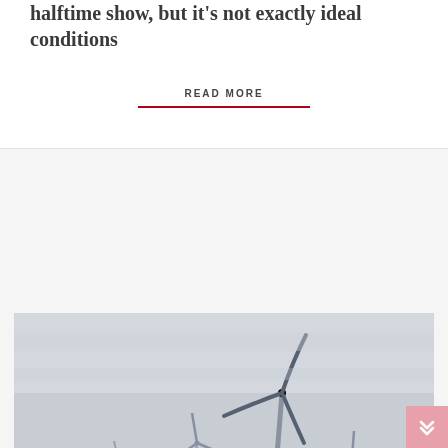halftime show, but it's not exactly ideal conditions
READ MORE
[Figure (photo): Offshore wind farm with multiple wind turbines standing in open ocean under an overcast grey sky. Four turbines visible at varying distances, the closest and tallest in the center-right of the image.]